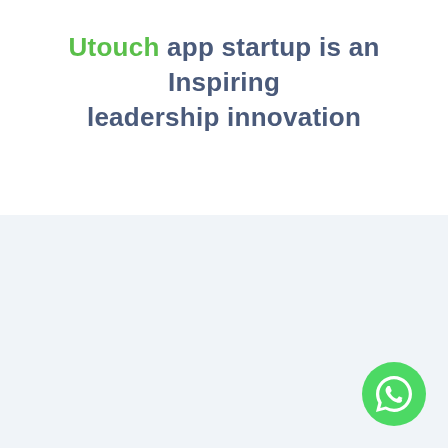Utouch app startup is an Inspiring leadership innovation
[Figure (logo): WhatsApp logo button — green circle with white phone handset icon]